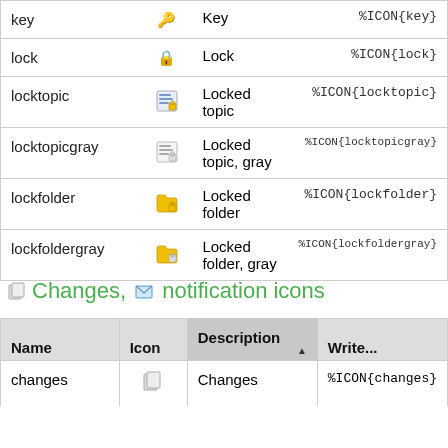| Name | Icon | Description | Write... |
| --- | --- | --- | --- |
| key | 🔑 | Key | %ICON{key} |
| lock | 🔒 | Lock | %ICON{lock} |
| locktopic | 📝 | Locked topic | %ICON{locktopic} |
| locktopicgray | 📄 | Locked topic, gray | %ICON{locktopicgray} |
| lockfolder | 📂 | Locked folder | %ICON{lockfolder} |
| lockfoldergray | 📁 | Locked folder, gray | %ICON{lockfoldergray} |
Changes, notification icons
| Name | Icon | Description | Write... |
| --- | --- | --- | --- |
| changes | 📋 | Changes | %ICON{changes} |